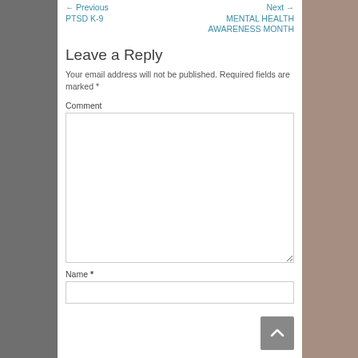← Previous PTSD K-9
Next → MENTAL HEALTH AWARENESS MONTH
Leave a Reply
Your email address will not be published. Required fields are marked *
Comment
Name *